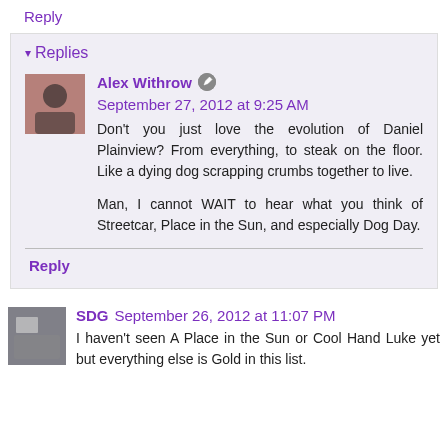Reply
▾ Replies
Alex Withrow  September 27, 2012 at 9:25 AM
Don't you just love the evolution of Daniel Plainview? From everything, to steak on the floor. Like a dying dog scrapping crumbs together to live.

Man, I cannot WAIT to hear what you think of Streetcar, Place in the Sun, and especially Dog Day.
Reply
SDG  September 26, 2012 at 11:07 PM
I haven't seen A Place in the Sun or Cool Hand Luke yet but everything else is Gold in this list.